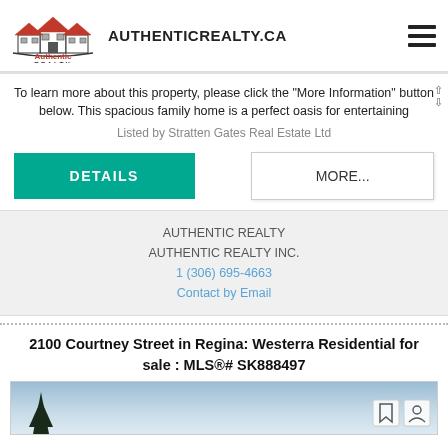[Figure (logo): Authentic Realty logo with house icon and red roof]
AUTHENTICREALTY.CA
To learn more about this property, please click the "More Information" button below. This spacious family home is a perfect oasis for entertaining
Listed by Stratten Gates Real Estate Ltd
DETAILS
MORE...
AUTHENTIC REALTY
AUTHENTIC REALTY INC.
1 (306) 695-4663
Contact by Email
2100 Courtney Street in Regina: Westerra Residential for sale : MLS®# SK888497
[Figure (photo): Property photo showing a winter/sky scene with tree silhouette]